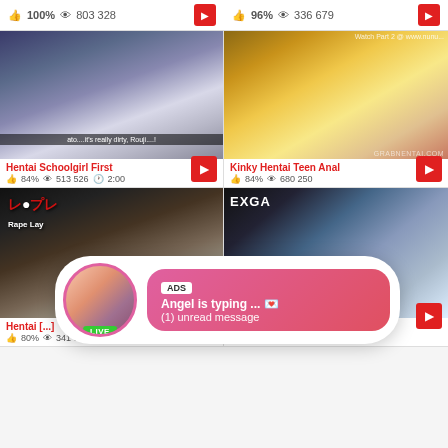100% 803 328 [red button]  |  96% 336 679 [red button]
[Figure (screenshot): Anime screenshot - Hentai Schoolgirl First thumbnail]
[Figure (screenshot): Anime screenshot - Kinky Hentai Teen Anal thumbnail]
Hentai Schoolgirl First  84%  513 526  2:00
Kinky Hentai Teen Anal  84%  680 250
[Figure (screenshot): Anime/game screenshot - Hentai thumbnail bottom left]
[Figure (screenshot): Anime/game screenshot - bottom right thumbnail EXGA]
[Figure (infographic): Ad overlay: avatar with LIVE badge, bubble says ADS / Angel is typing ... 💌 / (1) unread message]
Hentai [...]  80%  341 619  12:00  |  84%  497 288  2:00